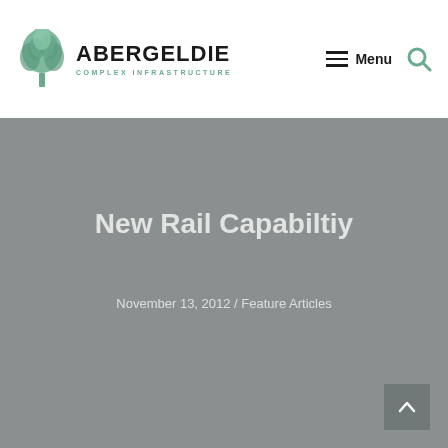[Figure (logo): Abergeldie Complex Infrastructure logo with tree icon on the left and company name on the right]
Menu
New Rail Capabiltiy
November 13, 2012 / Feature Articles